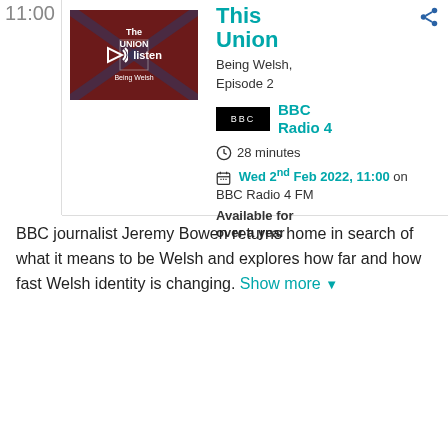11:00
[Figure (screenshot): Podcast thumbnail with dark red background showing 'The Union Being Welsh' text with a speaker/listen button overlay]
This Union
Being Welsh, Episode 2
[Figure (logo): BBC logo in black rectangle]
BBC Radio 4
28 minutes
Wed 2nd Feb 2022, 11:00 on BBC Radio 4 FM
Available for over a year
BBC journalist Jeremy Bowen returns home in search of what it means to be Welsh and explores how far and how fast Welsh identity is changing. Show more ▼